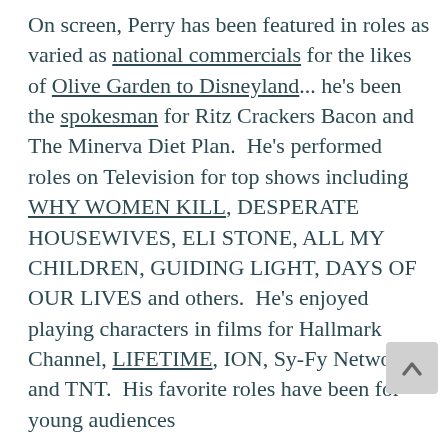On screen, Perry has been featured in roles as varied as national commercials for the likes of Olive Garden to Disneyland... he's been the spokesman for Ritz Crackers Bacon and The Minerva Diet Plan.  He's performed roles on Television for top shows including WHY WOMEN KILL, DESPERATE HOUSEWIVES, ELI STONE, ALL MY CHILDREN, GUIDING LIGHT, DAYS OF OUR LIVES and others.  He's enjoyed playing characters in films for Hallmark Channel, LIFETIME, ION, Sy-Fy Network and TNT.  His favorite roles have been for young audiences